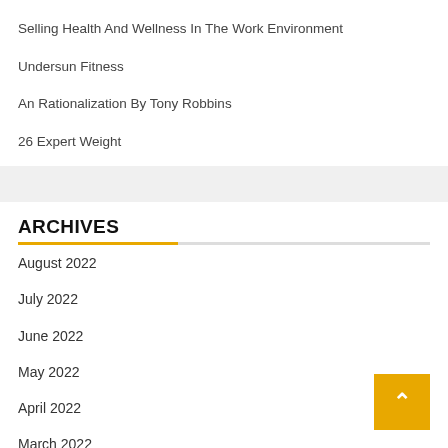Selling Health And Wellness In The Work Environment
Undersun Fitness
An Rationalization By Tony Robbins
26 Expert Weight
ARCHIVES
August 2022
July 2022
June 2022
May 2022
April 2022
March 2022
February 2022